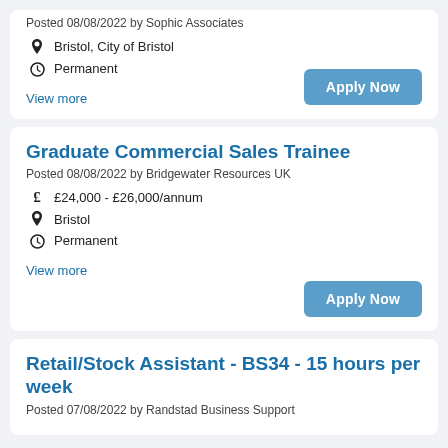Posted 08/08/2022 by Sophic Associates
Bristol, City of Bristol
Permanent
View more
Graduate Commercial Sales Trainee
Posted 08/08/2022 by Bridgewater Resources UK
£24,000 - £26,000/annum
Bristol
Permanent
View more
Retail/Stock Assistant - BS34 - 15 hours per week
Posted 07/08/2022 by Randstad Business Support